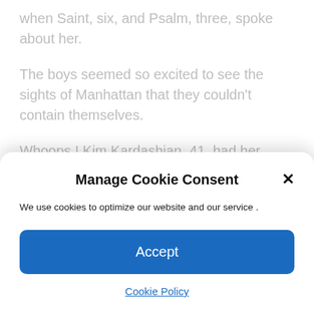when Saint, six, and Psalm, three, spoke about her.
The boys seemed so excited to see the sights of Manhattan that they couldn't contain themselves.
Whoops ! Kim Kardashian, 41, had her hilarious Instagram Live session hijacked by her sons Saint, six, and Psalm, three, ahead of her Tonight Show appearance on Tuesday
Kim flashed her striking platinum blonde hair while
Manage Cookie Consent
We use cookies to optimize our website and our service .
Accept
Cookie Policy